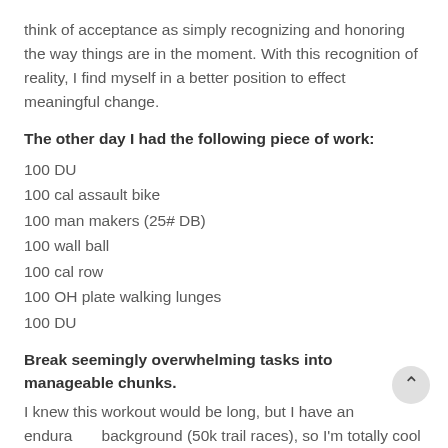think of acceptance as simply recognizing and honoring the way things are in the moment. With this recognition of reality, I find myself in a better position to effect meaningful change.
The other day I had the following piece of work:
100 DU
100 cal assault bike
100 man makers (25# DB)
100 wall ball
100 cal row
100 OH plate walking lunges
100 DU
Break seemingly overwhelming tasks into manageable chunks.
I knew this workout would be long, but I have an endurance background (50k trail races), so I'm totally cool with anything in the long-duration domain. I was never daunted by...